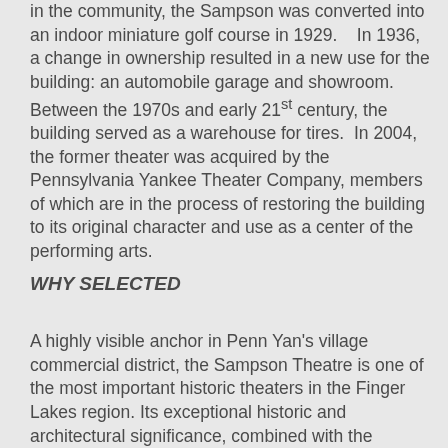in the community, the Sampson was converted into an indoor miniature golf course in 1929.  In 1936, a change in ownership resulted in a new use for the building: an automobile garage and showroom.  Between the 1970s and early 21st century, the building served as a warehouse for tires.  In 2004, the former theater was acquired by the Pennsylvania Yankee Theater Company, members of which are in the process of restoring the building to its original character and use as a center of the performing arts.
WHY SELECTED
A highly visible anchor in Penn Yan's village commercial district, the Sampson Theatre is one of the most important historic theaters in the Finger Lakes region. Its exceptional historic and architectural significance, combined with the